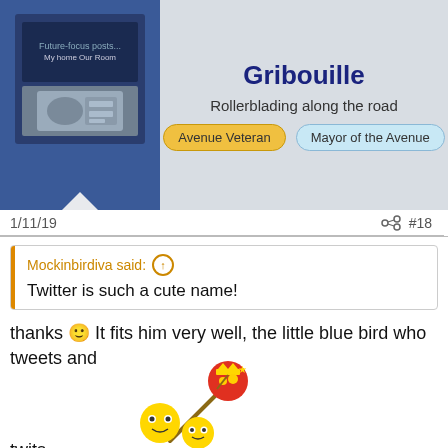[Figure (photo): User avatar for Gribouille - blue background with book/photo collage image]
Gribouille
Rollerblading along the road
Avenue Veteran   Mayor of the Avenue
1/11/19
#18
Mockinbirdiva said: ↑
Twitter is such a cute name!
thanks 🙂 It fits him very well, the little blue bird who tweets and twits
[Figure (illustration): Cartoon emoji characters - king with minions on a stick/wand, playful scene]
Lwalker, SquawksNibbles and Mockinbirdiva
[Figure (photo): User avatar for Lupen - mechanical/robot image]
Lupen
Walking the driveway